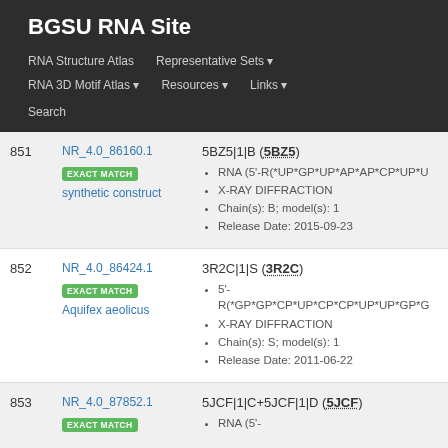BGSU RNA Site
RNA Structure Atlas | Representative Sets | RNA 3D Motif Atlas | Resources | Links | Search
| # | ID | Entry |
| --- | --- | --- |
| 851 | NR_4.0_86160.1 EXACT MATCH synthetic construct | 5BZ5|1|B (5BZ5) • RNA (5'-R(*UP*GP*UP*AP*AP*CP*UP*U • X-RAY DIFFRACTION • Chain(s): B; model(s): 1 • Release Date: 2015-09-23 |
| 852 | NR_4.0_86424.1 EXACT MATCH Aquifex aeolicus | 3R2C|1|S (3R2C) • 5'-R(*GP*GP*CP*UP*CP*CP*UP*UP*GP*G • X-RAY DIFFRACTION • Chain(s): S; model(s): 1 • Release Date: 2011-06-22 |
| 853 | NR_4.0_87852.1 EXACT MATCH | 5JCF|1|C+5JCF|1|D (5JCF) • RNA (5'- |